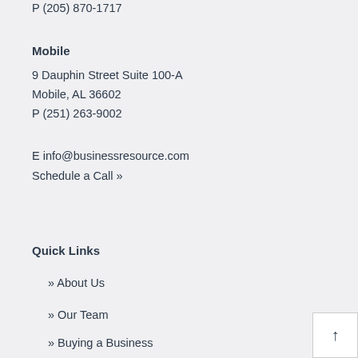P (205) 870-1717
Mobile
9 Dauphin Street Suite 100-A
Mobile, AL 36602
P (251) 263-9002
E info@businessresource.com
Schedule a Call »
Quick Links
» About Us
» Our Team
» Buying a Business